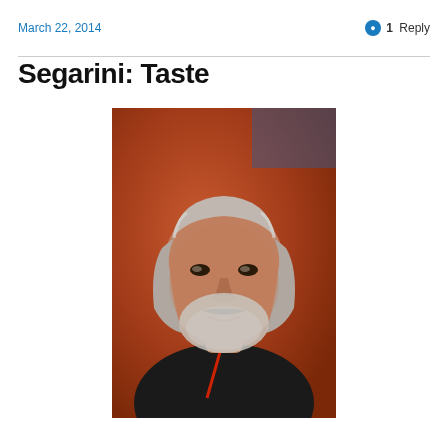March 22, 2014
1 Reply
Segarini: Taste
[Figure (photo): Portrait photo of an older man with gray shoulder-length hair and a gray beard, wearing a dark shirt with a red lanyard, against a reddish-orange background.]